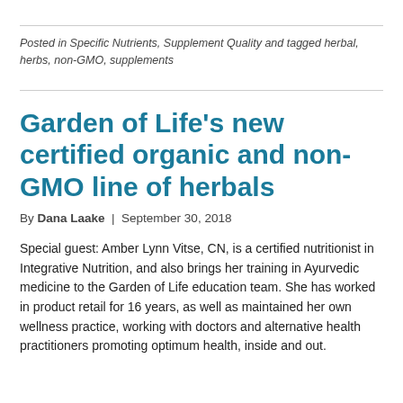Posted in Specific Nutrients, Supplement Quality and tagged herbal, herbs, non-GMO, supplements
Garden of Life's new certified organic and non-GMO line of herbals
By Dana Laake | September 30, 2018
Special guest: Amber Lynn Vitse, CN, is a certified nutritionist in Integrative Nutrition, and also brings her training in Ayurvedic medicine to the Garden of Life education team. She has worked in product retail for 16 years, as well as maintained her own wellness practice, working with doctors and alternative health practitioners promoting optimum health, inside and out.